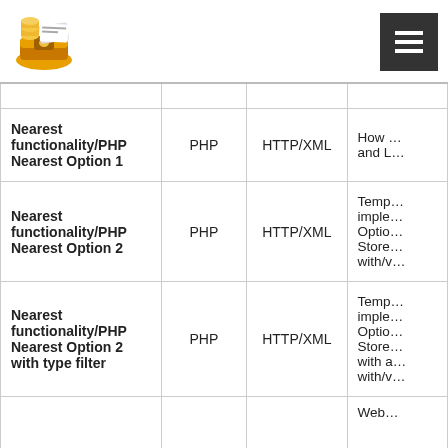[Figure (logo): Gold coins / treasure chest logo icon]
| Name | Language | Protocol | Description |
| --- | --- | --- | --- |
| Nearest functionality/PHP Nearest Option 1 | PHP | HTTP/XML | How … and L… |
| Nearest functionality/PHP Nearest Option 2 | PHP | HTTP/XML | Temp… imple… Optio… Store… with/v… |
| Nearest functionality/PHP Nearest Option 2 with type filter | PHP | HTTP/XML | Temp… imple… Optio… Store… with a… with/v… |
|  |  |  | Web… |